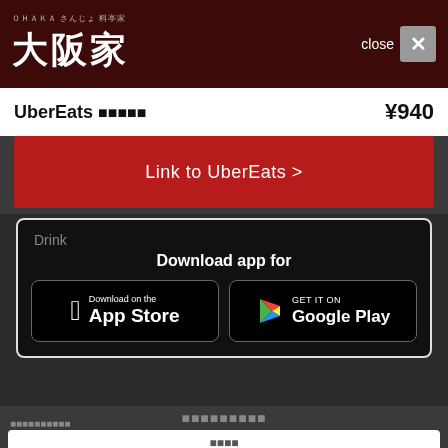大阪家 close X
UberEats □□□□□ ¥940
Link to UberEats >
ドリンク
Drink  Download app for
[Figure (screenshot): Download on the App Store and GET IT ON Google Play buttons]
□□□□□□□□□
□□□□□□□□□□
□□□□ 08/27(□)  2□